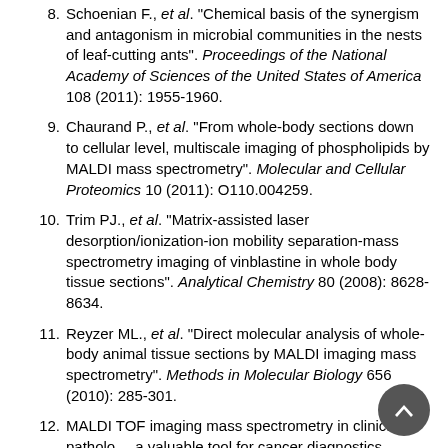8. Schoenian F., et al. "Chemical basis of the synergism and antagonism in microbial communities in the nests of leaf-cutting ants". Proceedings of the National Academy of Sciences of the United States of America 108 (2011): 1955-1960.
9. Chaurand P., et al. "From whole-body sections down to cellular level, multiscale imaging of phospholipids by MALDI mass spectrometry". Molecular and Cellular Proteomics 10 (2011): O110.004259.
10. Trim PJ., et al. "Matrix-assisted laser desorption/ionization-ion mobility separation-mass spectrometry imaging of vinblastine in whole body tissue sections". Analytical Chemistry 80 (2008): 8628-8634.
11. Reyzer ML., et al. "Direct molecular analysis of whole-body animal tissue sections by MALDI imaging mass spectrometry". Methods in Molecular Biology 656 (2010): 285-301.
12. MALDI TOF imaging mass spectrometry in clinical pathology a valuable tool for cancer diagnostics (Review) Jörg Kriegsmann1-3, Mark Kriegsmann4 and Rita Casadonte3